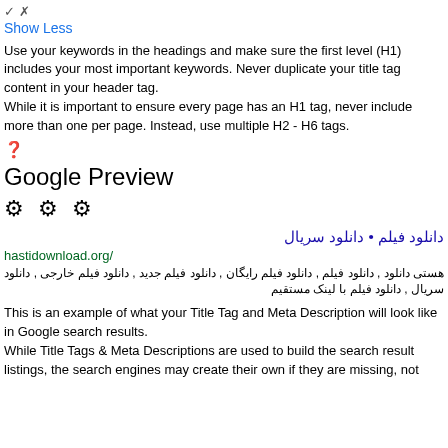✓ ✗
Show Less
Use your keywords in the headings and make sure the first level (H1) includes your most important keywords. Never duplicate your title tag content in your header tag.
While it is important to ensure every page has an H1 tag, never include more than one per page. Instead, use multiple H2 - H6 tags.
❓
Google Preview
⚙ ⚙ ⚙
دانلود فیلم • دانلود سریال
hastidownload.org/
هستی دانلود , دانلود فیلم , دانلود فیلم رایگان , دانلود فیلم جدید , دانلود فیلم خارجی , دانلود سریال , دانلود فیلم با لینک مستقیم
This is an example of what your Title Tag and Meta Description will look like in Google search results.
While Title Tags & Meta Descriptions are used to build the search result listings, the search engines may create their own if they are missing, not